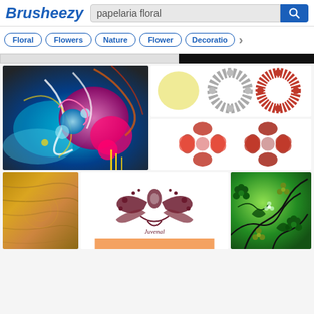Brusheezy — papelaria floral search page
Floral | Flowers | Nature | Flower | Decoration
[Figure (screenshot): Brusheezy website search results page for 'papelaria floral'. Shows logo, search bar, tag pills (Floral, Flowers, Nature, Flower, Decoration), and a grid of thumbnail images including abstract floral art, floral brushes, flowers, golden texture, ornamental design, and green floral pattern.]